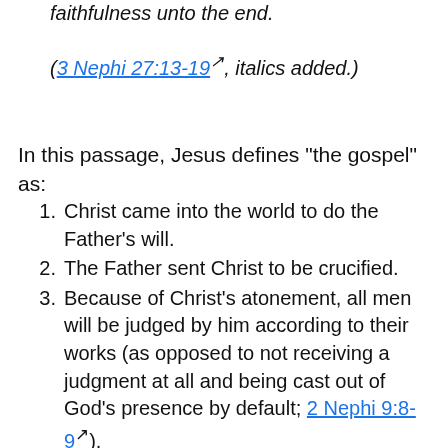faithfulness unto the end.
(3 Nephi 27:13-19, italics added.)
In this passage, Jesus defines "the gospel" as:
Christ came into the world to do the Father's will.
The Father sent Christ to be crucified.
Because of Christ's atonement, all men will be judged by him according to their works (as opposed to not receiving a judgment at all and being cast out of God's presence by default; 2 Nephi 9:8-9).
Those who repent and are baptized shall be filled with the Holy Ghost...